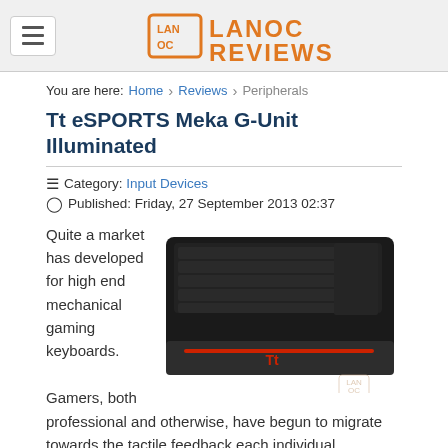[Figure (logo): LanOC Reviews logo with orange text on grey header background]
You are here: Home > Reviews > Peripherals
Tt eSPORTS Meka G-Unit Illuminated
Category: Input Devices
Published: Friday, 27 September 2013 02:37
[Figure (photo): Photo of the Tt eSPORTS Meka G-Unit Illuminated mechanical gaming keyboard, black with red accents, with LanOC watermark]
Quite a market has developed for high end mechanical gaming keyboards. Gamers, both professional and otherwise, have begun to migrate towards the tactile feedback each individual keystroke or double tap provides. With this growing market, the